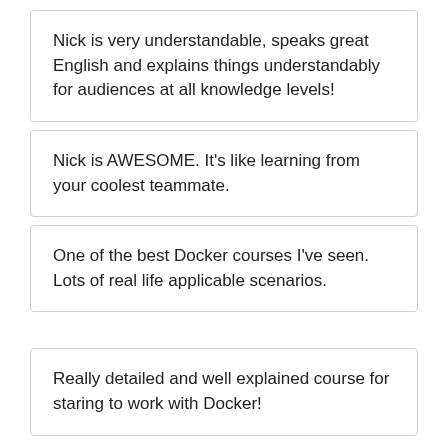Nick is very understandable, speaks great English and explains things understandably for audiences at all knowledge levels!
Nick is AWESOME. It's like learning from your coolest teammate.
One of the best Docker courses I've seen. Lots of real life applicable scenarios.
Really detailed and well explained course for staring to work with Docker!